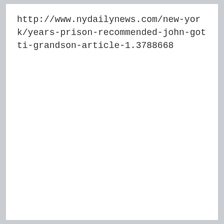http://www.nydailynews.com/new-york/years-prison-recommended-john-gotti-grandson-article-1.3788668